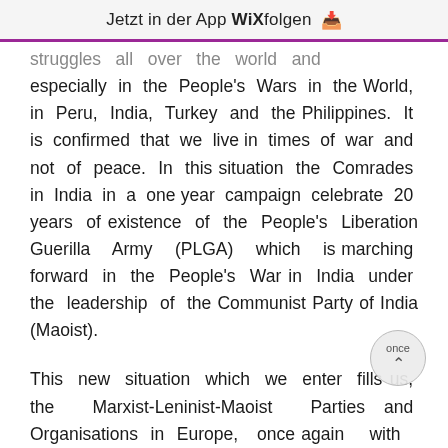Jetzt in der App WiX folgen ↓
struggles all over the world and especially in the People's Wars in the World, in Peru, India, Turkey and the Philippines. It is confirmed that we live in times of war and not of peace. In this situation the Comrades in India in a one year campaign celebrate 20 years of existence of the People's Liberation Guerilla Army (PLGA) which is marching forward in the People's War in India under the leadership of the Communist Party of India (Maoist).
This new situation which we enter fills us, the Marxist-Leninist-Maoist Parties and Organisations in Europe, once again with deepest proletarian internationalist spirit, knowing that we